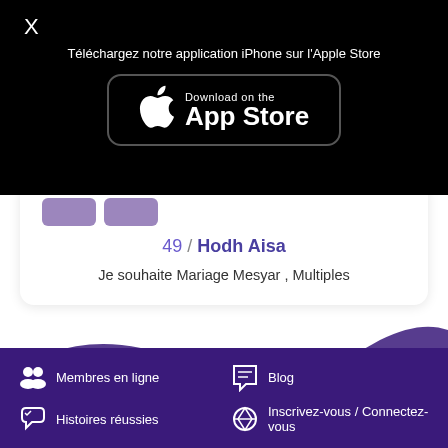X
Téléchargez notre application iPhone sur l'Apple Store
[Figure (screenshot): Download on the App Store button with Apple logo]
49 / Hodh Aisa
Je souhaite Mariage Mesyar , Multiples
Membres en ligne
Blog
Histoires réussies
Inscrivez-vous / Connectez-vous